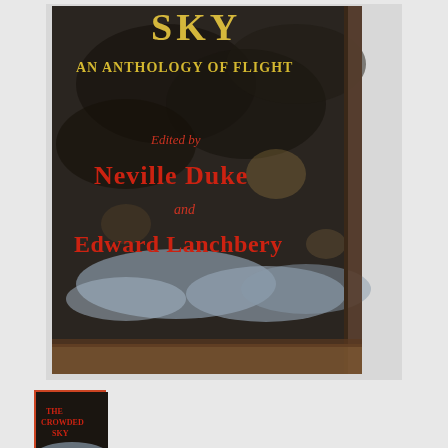[Figure (photo): Large photograph of a worn book cover titled 'The Crowded Sky: An Anthology of Flight', edited by Neville Duke and Edward Lanchbery. The cover shows a stormy sky with clouds and the text is in yellow and red on a dark background. The book has visible wear and aging.]
[Figure (photo): Small thumbnail image of the same book 'The Crowded Sky' showing the full cover with title text visible.]